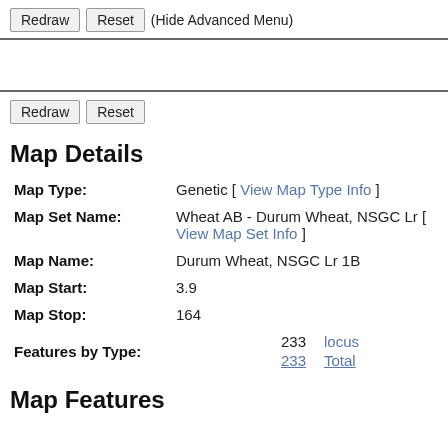Redraw | Reset | (Hide Advanced Menu)
Redraw | Reset
Map Details
| Field | Value |
| --- | --- |
| Map Type: | Genetic [ View Map Type Info ] |
| Map Set Name: | Wheat AB - Durum Wheat, NSGC Lr [ View Map Set Info ] |
| Map Name: | Durum Wheat, NSGC Lr 1B |
| Map Start: | 3.9 |
| Map Stop: | 164 |
| Features by Type: | 233  locus
233  Total |
Map Features